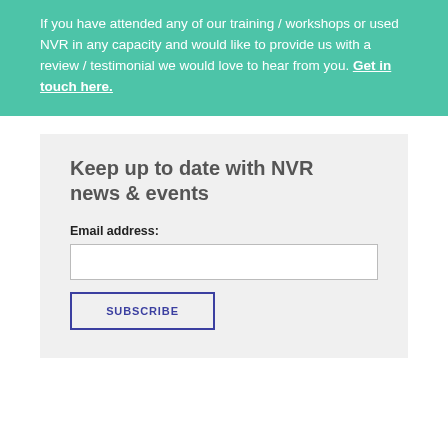If you have attended any of our training / workshops or used NVR in any capacity and would like to provide us with a review / testimonial we would love to hear from you. Get in touch here.
Keep up to date with NVR news & events
Email address: